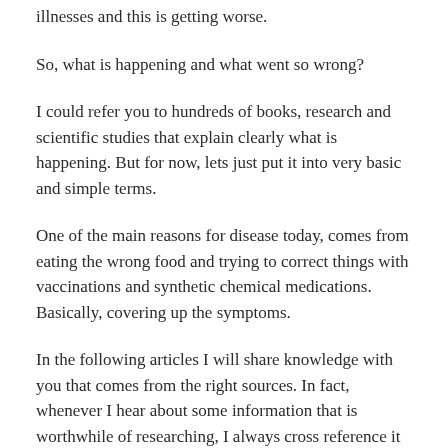illnesses and this is getting worse.
So, what is happening and what went so wrong?
I could refer you to hundreds of books, research and scientific studies that explain clearly what is happening. But for now, lets just put it into very basic and simple terms.
One of the main reasons for disease today, comes from eating the wrong food and trying to correct things with vaccinations and synthetic chemical medications. Basically, covering up the symptoms.
In the following articles I will share knowledge with you that comes from the right sources. In fact, whenever I hear about some information that is worthwhile of researching, I always cross reference it with proven sources I know I can rely on.